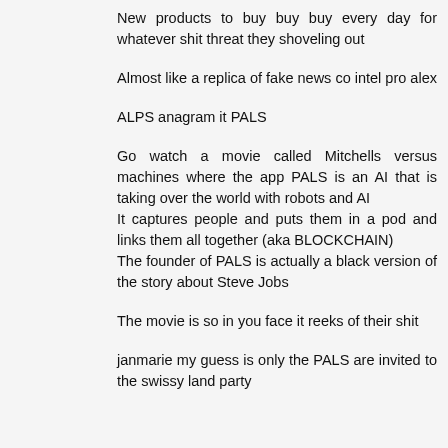New products to buy buy buy every day for whatever shit threat they shoveling out
Almost like a replica of fake news co intel pro alex
ALPS anagram it PALS
Go watch a movie called Mitchells versus machines where the app PALS is an AI that is taking over the world with robots and AI
It captures people and puts them in a pod and links them all together (aka BLOCKCHAIN)
The founder of PALS is actually a black version of the story about Steve Jobs
The movie is so in you face it reeks of their shit
janmarie my guess is only the PALS are invited to the swissy land party